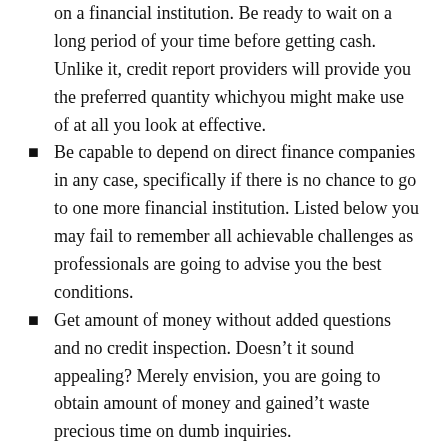on a financial institution. Be ready to wait on a long period of your time before getting cash. Unlike it, credit report providers will provide you the preferred quantity whichyou might make use of at all you look at effective.
Be capable to depend on direct finance companies in any case, specifically if there is no chance to go to one more financial institution. Listed below you may fail to remember all achievable challenges as professionals are going to advise you the best conditions.
Get amount of money without added questions and no credit inspection. Doesn’t it sound appealing? Merely envision, you are going to obtain amount of money and gained’t waste precious time on dumb inquiries.